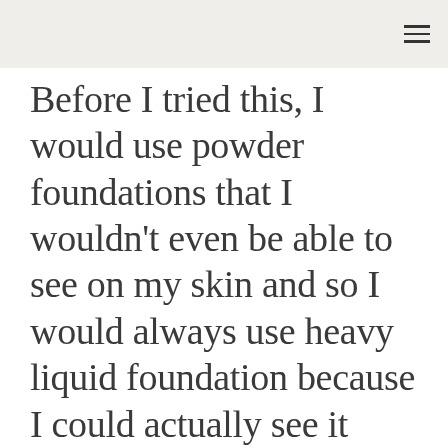Before I tried this, I would use powder foundations that I wouldn't even be able to see on my skin and so I would always use heavy liquid foundation because I could actually see it making a big difference! This was the first powder foundation I tried where I could actually see it on my face, smoothing my skin and covering blemishes